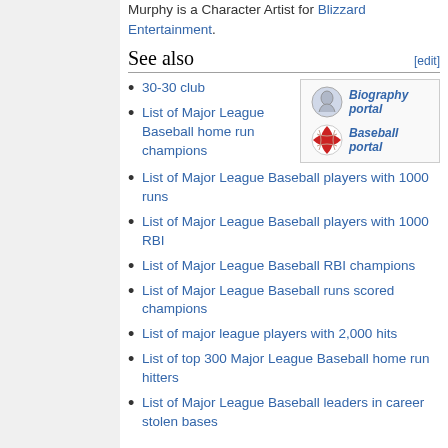Murphy is a Character Artist for Blizzard Entertainment.
See also
30-30 club
List of Major League Baseball home run champions
List of Major League Baseball players with 1000 runs
List of Major League Baseball players with 1000 RBI
List of Major League Baseball RBI champions
List of Major League Baseball runs scored champions
List of major league players with 2,000 hits
List of top 300 Major League Baseball home run hitters
List of Major League Baseball leaders in career stolen bases